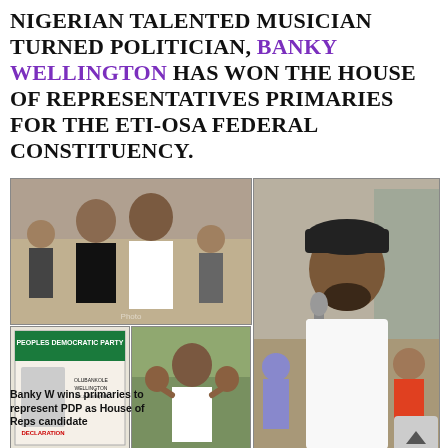Nigerian talented musician turned politician, Banky Wellington has won the House of Representatives primaries for the Eti-Osa Federal constituency.
[Figure (photo): Collage of four photos: top-left shows Banky W with a woman at an outdoor event; bottom-left shows a campaign banner/poster for Banky Wellington; bottom-center shows Banky W with supporters celebrating; right large photo shows Banky W speaking into a microphone outdoors wearing white traditional attire and a cap.]
Banky W wins primaries to represent PDP as House of Reps candidate